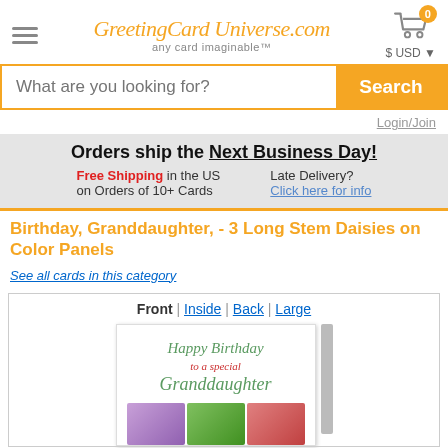GreetingCardUniverse.com — any card imaginable™
What are you looking for? [Search]
Login/Join
Orders ship the Next Business Day! Free Shipping in the US on Orders of 10+ Cards | Late Delivery? Click here for info
Birthday, Granddaughter, - 3 Long Stem Daisies on Color Panels
See all cards in this category
[Figure (screenshot): Greeting card viewer showing Front | Inside | Back | Large tabs, with a birthday card displaying 'Happy Birthday to a special Granddaughter' in green and red italic script, with colorful flower panels at bottom]